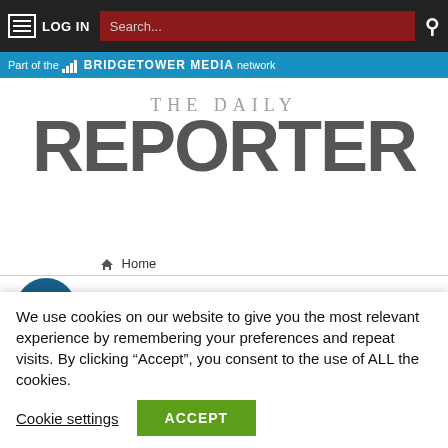LOG IN | Search... | The Daily Reporter - Part of the BridgeTower Media network
[Figure (logo): The Daily Reporter newspaper logo with 'THE DAILY' in light gray uppercase and 'REPORTER' in large bold dark gray uppercase]
Home
Tag Archives: EBE
Report: Milwaukee's Moderne
We use cookies on our website to give you the most relevant experience by remembering your preferences and repeat visits. By clicking “Accept”, you consent to the use of ALL the cookies.
Cookie settings | ACCEPT